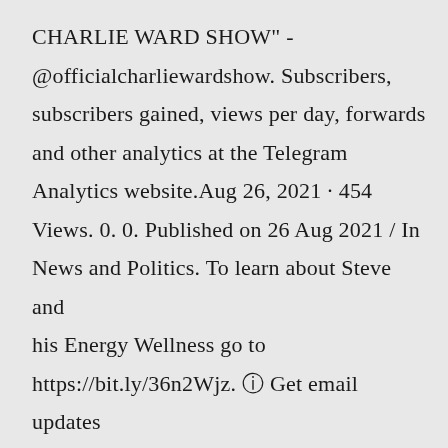CHARLIE WARD SHOW" - @officialcharliewardshow. Subscribers, subscribers gained, views per day, forwards and other analytics at the Telegram Analytics website.Aug 26, 2021 · 454 Views. 0. 0. Published on 26 Aug 2021 / In News and Politics. To learn about Steve and his Energy Wellness go to https://bit.ly/36n2Wjz. ⓘ Get email updates at https://DrCharlieWard.com.